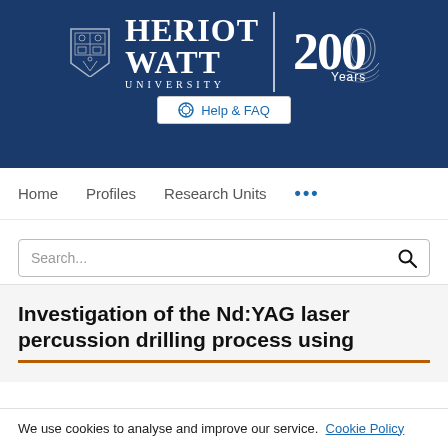[Figure (logo): Heriot-Watt University logo with shield, HERIOT WATT UNIVERSITY text, vertical divider, and 200 Years anniversary logo on dark blue background with Help & FAQ button]
Home   Profiles   Research Units   ...
Search...
Investigation of the Nd:YAG laser percussion drilling process using
We use cookies to analyse and improve our service. Cookie Policy